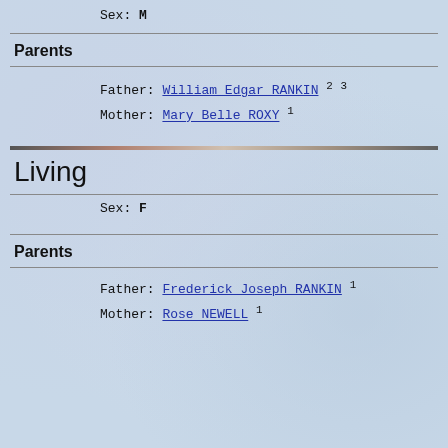Sex: M
Parents
Father: William Edgar RANKIN 2 3
Mother: Mary Belle ROXY 1
Living
Sex: F
Parents
Father: Frederick Joseph RANKIN 1
Mother: Rose NEWELL 1